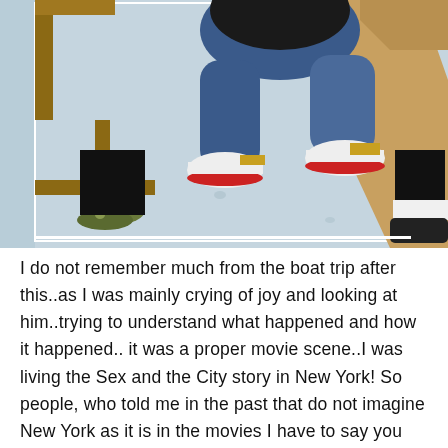[Figure (photo): A person wearing blue jeans crouching or sitting on a blue/gray floor surface near wooden railings or furniture. The person is wearing white and red sneakers with gold accents. Another person's legs with black sneakers are visible on the right side. Wooden chair or railing elements are visible.]
I do not remember much from the boat trip after this..as I was mainly crying of joy and looking at him..trying to understand what happened and how it happened.. it was a proper movie scene..I was living the Sex and the City story in New York! So people, who told me in the past that do not imagine New York as it is in the movies I have to say you were wrong. My experience there was EXACTLY how